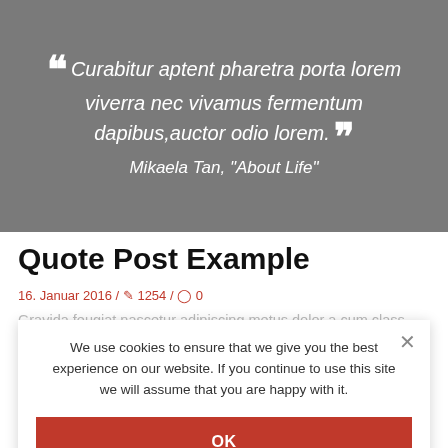[Figure (other): Grey banner with a large italic quote in white: 'Curabitur aptent pharetra porta lorem viverra nec vivamus fermentum dapibus, auctor odio lorem.' attributed to Mikaela Tan, 'About Life']
Quote Post Example
16. Januar 2016 / 1254 / 0
Gravida feugiat nascetur adipiscing metus dolor a cum class curae cum consectetur vel in ut phasellus commodo vestibulum adipiscing nam tri...
We use cookies to ensure that we give you the best experience on our website. If you continue to use this site we will assume that you are happy with it.
OK
Continue Reading